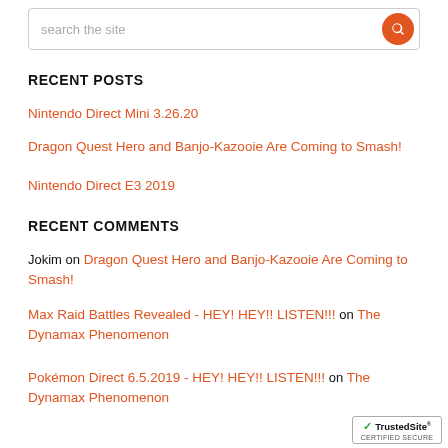search the site
RECENT POSTS
Nintendo Direct Mini 3.26.20
Dragon Quest Hero and Banjo-Kazooie Are Coming to Smash!
Nintendo Direct E3 2019
RECENT COMMENTS
Jokim on Dragon Quest Hero and Banjo-Kazooie Are Coming to Smash!
Max Raid Battles Revealed - HEY! HEY!! LISTEN!!! on The Dynamax Phenomenon
Pokémon Direct 6.5.2019 - HEY! HEY!! LISTEN!!! on The Dynamax Phenomenon
[Figure (logo): TrustedSite Certified Secure badge]